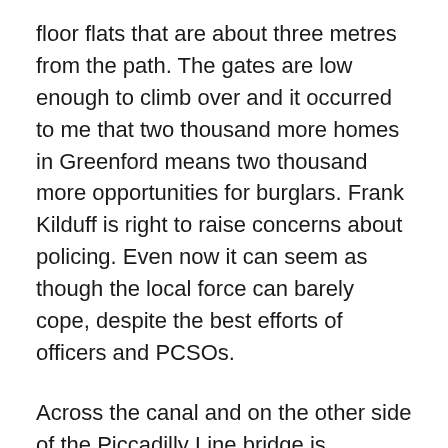floor flats that are about three metres from the path. The gates are low enough to climb over and it occurred to me that two thousand more homes in Greenford means two thousand more opportunities for burglars. Frank Kilduff is right to raise concerns about policing. Even now it can seem as though the local force can barely cope, despite the best efforts of officers and PCSOs.
Across the canal and on the other side of the Piccadilly Line bridge is Alperton Village, completed in 2011. The colours of the materials used here are more conventional and there is only one tower block. The rest of the development seems to be made up of four to eight storey blocks. They are closer in height to that of neighbouring houses and the street created as part of it connects with the surrounding area, unlike 243 Ealing Road. A